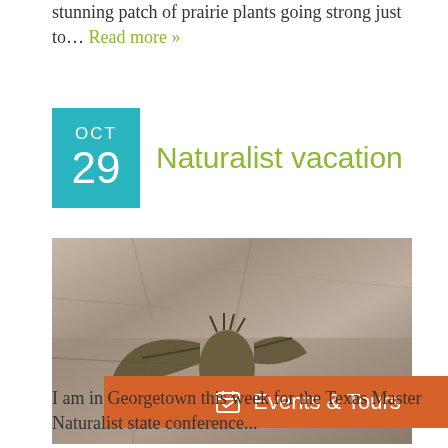stunning patch of prairie plants going strong just to… Read more »
Naturalist vacation
[Figure (photo): A bat hanging on a rocky/stone wall surface, viewed from below, with wings folded]
Events & Tours
I am in Georgetown this week for the Texas Master Naturalist state conference...